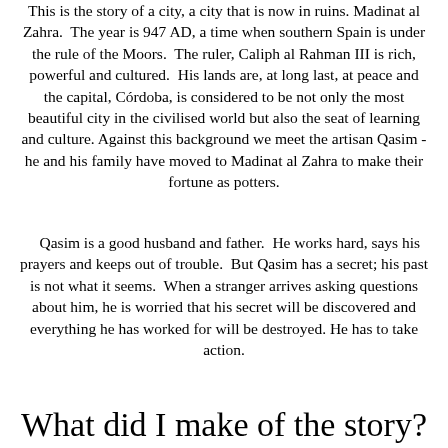This is the story of a city, a city that is now in ruins. Madinat al Zahra. The year is 947 AD, a time when southern Spain is under the rule of the Moors. The ruler, Caliph al Rahman III is rich, powerful and cultured. His lands are, at long last, at peace and the capital, Córdoba, is considered to be not only the most beautiful city in the civilised world but also the seat of learning and culture. Against this background we meet the artisan Qasim - he and his family have moved to Madinat al Zahra to make their fortune as potters.
Qasim is a good husband and father. He works hard, says his prayers and keeps out of trouble. But Qasim has a secret; his past is not what it seems. When a stranger arrives asking questions about him, he is worried that his secret will be discovered and everything he has worked for will be destroyed. He has to take action.
What did I make of the story?